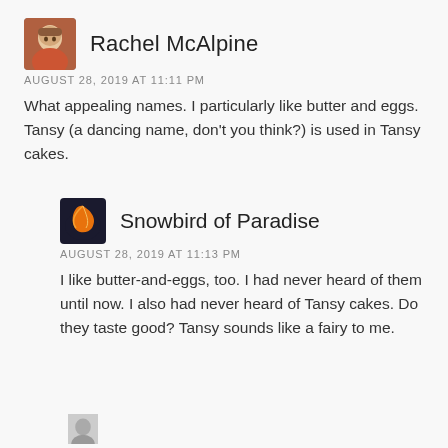[Figure (photo): Avatar photo of Rachel McAlpine, an older woman]
Rachel McAlpine
AUGUST 28, 2019 AT 11:11 PM
What appealing names. I particularly like butter and eggs. Tansy (a dancing name, don't you think?) is used in Tansy cakes.
[Figure (photo): Avatar image of Snowbird of Paradise, showing an orange bird/leaf graphic]
Snowbird of Paradise
AUGUST 28, 2019 AT 11:13 PM
I like butter-and-eggs, too. I had never heard of them until now. I also had never heard of Tansy cakes. Do they taste good? Tansy sounds like a fairy to me.
[Figure (photo): Partial avatar at bottom of page]